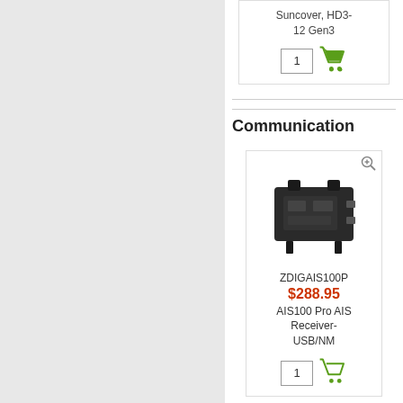Suncover, HD3-12 Gen3
1
Communication
[Figure (photo): ZDIGAIS100P product - AIS100 Pro AIS Receiver USB/NM device, small black electronic module]
ZDIGAIS100P
$288.95
AIS100 Pro AIS Receiver-USB/NM
1
Kits
[Figure (photo): Kit product image showing cables, connectors and small electronic components]